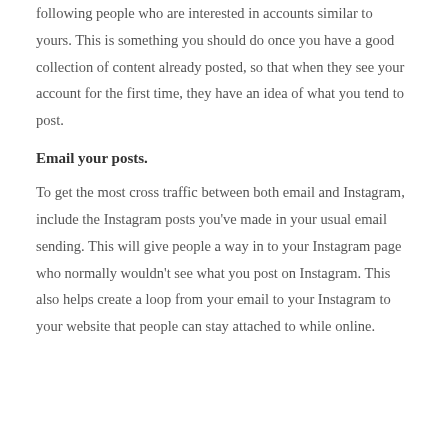following people who are interested in accounts similar to yours. This is something you should do once you have a good collection of content already posted, so that when they see your account for the first time, they have an idea of what you tend to post.
Email your posts.
To get the most cross traffic between both email and Instagram, include the Instagram posts you've made in your usual email sending. This will give people a way in to your Instagram page who normally wouldn't see what you post on Instagram. This also helps create a loop from your email to your Instagram to your website that people can stay attached to while online.